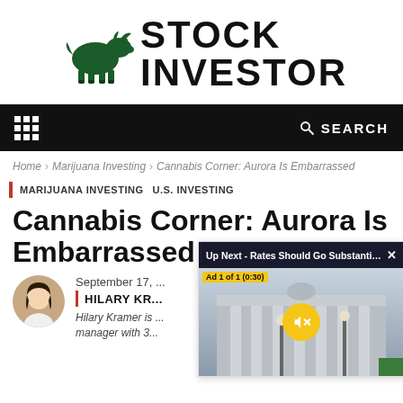[Figure (logo): Stock Investor logo with dark green bull silhouette and bold black text reading STOCK INVESTOR]
Menu | SEARCH
Home › Marijuana Investing › Cannabis Corner: Aurora Is Embarrassed
MARIJUANA INVESTING  U.S. INVESTING
Cannabis Corner: Aurora Is Embarrassed
September 17, ... | HILARY KRA... | Hilary Kramer is ... manager with 3...
[Figure (screenshot): Video overlay showing 'Up Next - Rates Should Go Substantially...' with a mute button over a building photo, labeled Ad 1 of 1 (0:30)]